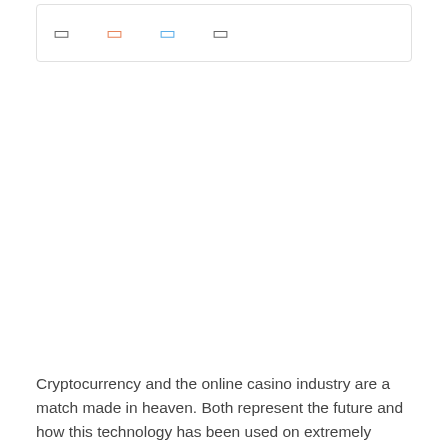[Figure (other): Icon bar with four small icon symbols in a bordered box: first icon grey, second icon orange, third icon blue, fourth icon grey]
Cryptocurrency and the online casino industry are a match made in heaven. Both represent the future and how this technology has been used on extremely